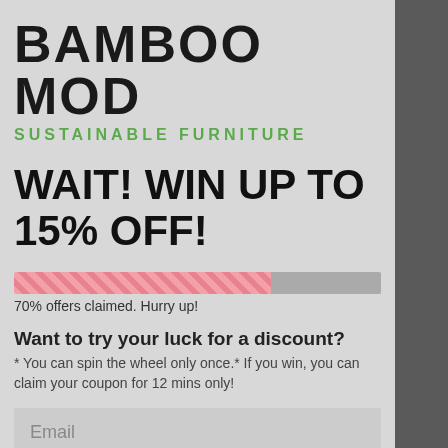BAMBOO MOD
SUSTAINABLE FURNITURE
WAIT! WIN UP TO 15% OFF!
[Figure (infographic): Progress bar showing 70% filled with pink hatched pattern and 30% gray]
70% offers claimed. Hurry up!
Want to try your luck for a discount?
* You can spin the wheel only once.* If you win, you can claim your coupon for 12 mins only!
Email
TRY YOUR LUCK
No, I don't feel lucky